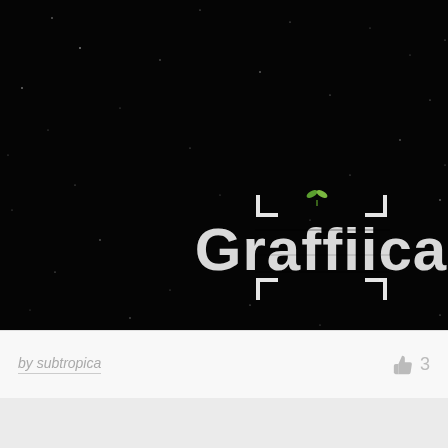[Figure (logo): Dark starry night background with 'Graffiica' logo text in distressed/stencil white lettering with bracket corner marks and small green plant sprout on top of the letter i]
by subtropica
3